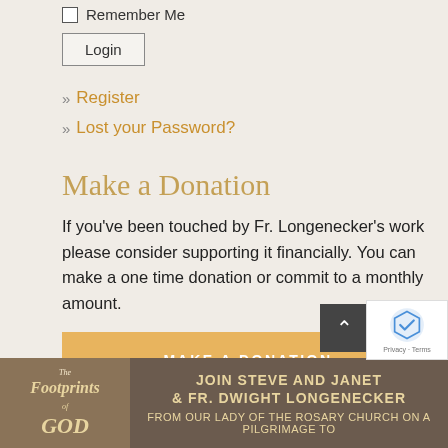Remember Me
Login
» Register
» Lost your Password?
Make a Donation
If you've been touched by Fr. Longenecker's work please consider supporting it financially. You can make a one time donation or commit to a monthly amount.
MAKE A DONATION
[Figure (illustration): Banner showing 'The Footprints of GOD' with text 'JOIN STEVE AND JANET & FR. DWIGHT LONGENECKER FROM OUR LADY OF THE ROSARY CHURCH ON A PILGRIMAGE TO']